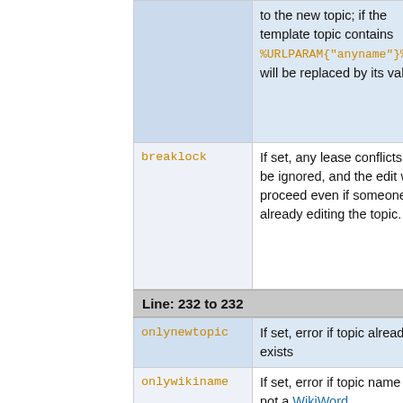| (continuation) | to the new topic; if the template topic contains %URLPARAM{"anyname"}%, it will be replaced by its value |
| breaklock | If set, any lease conflicts will be ignored, and the edit will proceed even if someone is already editing the topic. |
Line: 232 to 232
| onlynewtopic | If set, error if topic already exists |
| onlywikiname | If set, error if topic name is not a WikiWord |
| dontnotify | if defined, suppress change notification |